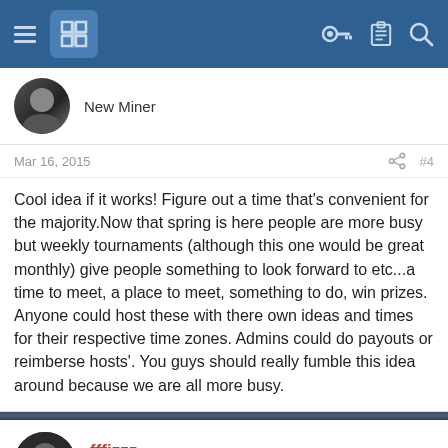Navigation bar with hamburger menu, logo, key icon, list icon, search icon
New Miner
Mar 16, 2015  #4
Cool idea if it works! Figure out a time that's convenient for the majority.Now that spring is here people are more busy but weekly tournaments (although this one would be great monthly) give people something to look forward to etc...a time to meet, a place to meet, something to do, win prizes. Anyone could host these with there own ideas and times for their respective time zones. Admins could do payouts or reimberse hosts'. You guys should really fumble this idea around because we are all more busy.
fffizzz
Administrator Adman
Mar 16, 2015
S...